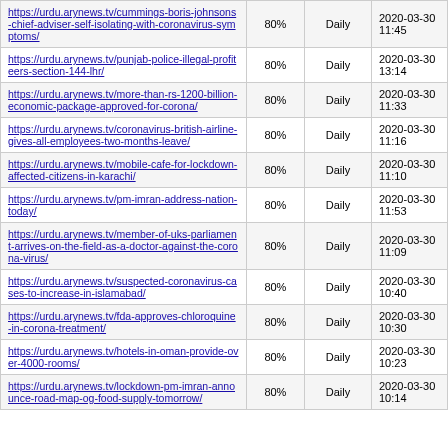| URL | Score | Frequency | Date |
| --- | --- | --- | --- |
| https://urdu.arynews.tv/cummings-boris-johnsons-chief-adviser-self-isolating-with-coronavirus-symptoms/ | 80% | Daily | 2020-03-30 11:45 |
| https://urdu.arynews.tv/punjab-police-illegal-profiteers-section-144-lhr/ | 80% | Daily | 2020-03-30 13:14 |
| https://urdu.arynews.tv/more-than-rs-1200-billion-economic-package-approved-for-corona/ | 80% | Daily | 2020-03-30 11:33 |
| https://urdu.arynews.tv/coronavirus-british-airline-gives-all-employees-two-months-leave/ | 80% | Daily | 2020-03-30 11:16 |
| https://urdu.arynews.tv/mobile-cafe-for-lockdown-affected-citizens-in-karachi/ | 80% | Daily | 2020-03-30 11:10 |
| https://urdu.arynews.tv/pm-imran-address-nation-today/ | 80% | Daily | 2020-03-30 11:53 |
| https://urdu.arynews.tv/member-of-uks-parliament-arrives-on-the-field-as-a-doctor-against-the-corona-virus/ | 80% | Daily | 2020-03-30 11:09 |
| https://urdu.arynews.tv/suspected-coronavirus-cases-to-increase-in-islamabad/ | 80% | Daily | 2020-03-30 10:40 |
| https://urdu.arynews.tv/fda-approves-chloroquine-in-corona-treatment/ | 80% | Daily | 2020-03-30 10:30 |
| https://urdu.arynews.tv/hotels-in-oman-provide-over-4000-rooms/ | 80% | Daily | 2020-03-30 10:23 |
| https://urdu.arynews.tv/lockdown-pm-imran-announce-road-map-og-food-supply-tomorrow/ | 80% | Daily | 2020-03-30 10:14 |